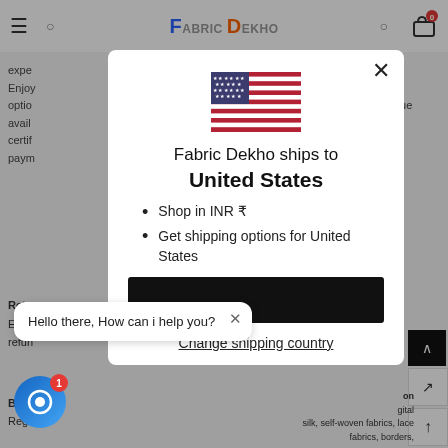[Figure (screenshot): Website header with hamburger menu, search icon, Fabric Dekho logo, and cart icon showing 0 items]
expe
Enjoy
optio
avail
certif
paym
t
s
nue
[Figure (illustration): United States flag emoji/icon centered in the modal]
Fabric Dekho ships to
United States
Shop in INR ₹
Get shipping options for United States
Change shipping country
Retu
Easy
refun
Beco
Regis
Hello there, How can i help you?
on
gital
silk, self-woven fabrics, lace fabrics, borders,